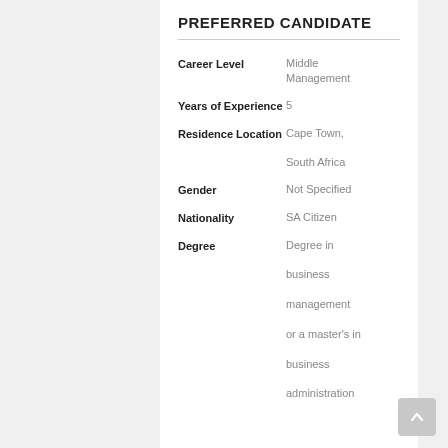PREFERRED CANDIDATE
| Field | Value |
| --- | --- |
| Career Level | Middle Management |
| Years of Experience | 5 |
| Residence Location | Cape Town, South Africa |
| Gender | Not Specified |
| Nationality | SA Citizen |
| Degree | Degree in business management or a master's in business administration |